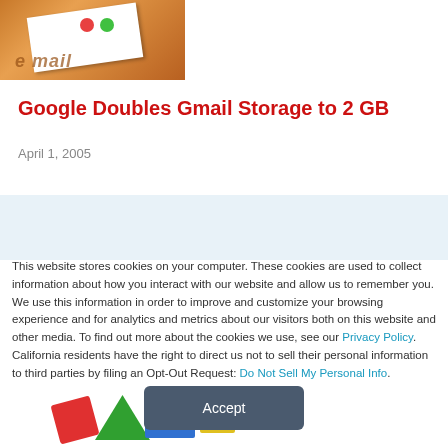[Figure (photo): Email envelope/card image on warm orange-brown background]
Google Doubles Gmail Storage to 2 GB
April 1, 2005
[Figure (screenshot): Light blue banner with colorful Google product icons]
This website stores cookies on your computer. These cookies are used to collect information about how you interact with our website and allow us to remember you. We use this information in order to improve and customize your browsing experience and for analytics and metrics about our visitors both on this website and other media. To find out more about the cookies we use, see our Privacy Policy. California residents have the right to direct us not to sell their personal information to third parties by filing an Opt-Out Request: Do Not Sell My Personal Info.